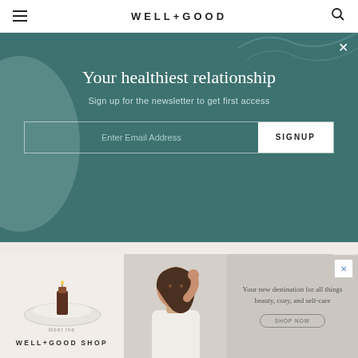WELL+GOOD
Your healthiest relationship
Sign up for the newsletter to get first access
RELATED STORIES
Meet the Gen Z Graphic Artist Helping Asian People Prioritize Joy
[Figure (photo): Advertisement banner for Well+Good Shop showing product on plate, woman with hand in hair, and tagline 'Your new destination for all things beauty, cozy, and self-care']